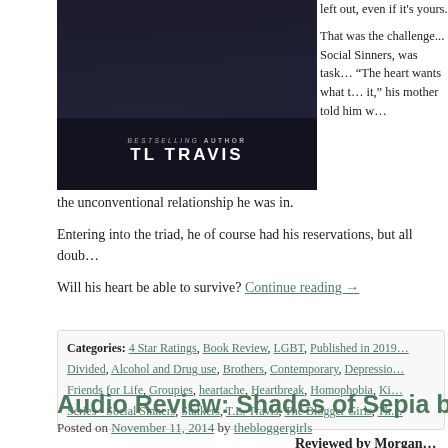[Figure (photo): Book cover image with dark background showing 'BESTSELLING AUTHOR TL TRAVIS' text]
left out, even if it's yours.
That was the challenge... Social Sinners, was tasked... "The heart wants what it," his mother told him w... the unconventional relationship he was in.
Entering into the triad, he of course had his reservations, but all doub...
Will his heart be able to survive? Continue reading →
Categories: 4 Star Ratings, Book Review, LGBT, Published in 2019..., Divided, Alcohol and Drug use, Brothers, Contemporary, Depressio..., Friends for Life, Groupies, heartache, Heartbreak, Homophobia, Ki..., Series - Social Sinners, Stalkers, T.L. Travis, The Blogger Girls, Th...
Audio Review: Shades of Sepia by Ann...
Posted on November 11, 2014 by thebloggergirls
Reviewed by Morgan...